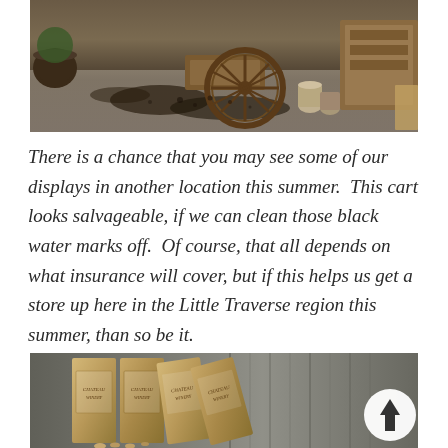[Figure (photo): Outdoor scene with a wooden wagon wheel, scattered dirt and debris on pavement, wooden structures and metal containers in background]
There is a chance that you may see some of our displays in another location this summer.  This cart looks salvageable, if we can clean those black water marks off.  Of course, that all depends on what insurance will cover, but if this helps us get a store up here in the Little Traverse region this summer, than so be it.
[Figure (photo): Wine boxes or wooden crates with labels visible, leaning against a dark weathered wood background]